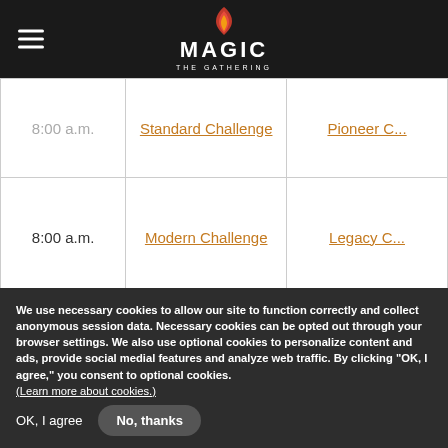Magic: The Gathering
| Time | Event | Event2 |
| --- | --- | --- |
| 8:00 a.m. | Standard Challenge | Pioneer C... |
| 8:00 a.m. | Modern Challenge | Legacy C... |
Check out the Magic Online Format Challenges page for further event details.
We use necessary cookies to allow our site to function correctly and collect anonymous session data. Necessary cookies can be opted out through your browser settings. We also use optional cookies to personalize content and ads, provide social medial features and analyze web traffic. By clicking “OK, I agree,” you consent to optional cookies. (Learn more about cookies.)